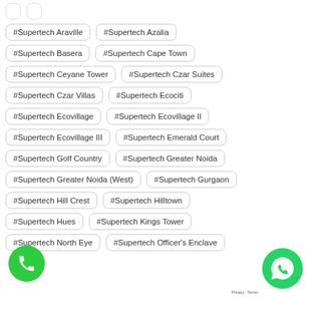#Supertech Araville
#Supertech Azalia
#Supertech Basera
#Supertech Cape Town
#Supertech Ceyane Tower
#Supertech Czar Suites
#Supertech Czar Villas
#Supertech Ecociti
#Supertech Ecovillage
#Supertech Ecovillage II
#Supertech Ecovillage III
#Supertech Emerald Court
#Supertech Golf Country
#Supertech Greater Noida
#Supertech Greater Noida (West)
#Supertech Gurgaon
#Supertech Hill Crest
#Supertech Hilltown
#Supertech Hues
#Supertech Kings Tower
#Supertech North Eye
#Supertech Officer's Enclave